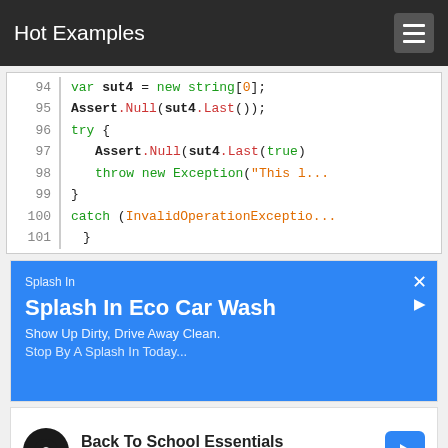Hot Examples
[Figure (screenshot): Code snippet showing lines 94-101 of C# code with syntax highlighting. Line 94: var sut4 = new string[0]; Line 95: Assert.Null(sut4.Last()); Line 96: try { Line 97: Assert.Null(sut4.Last(true)) Line 98: throw new Exception("This l... Line 99: } Line 100: catch (InvalidOperationExceptio... Line 101: }]
[Figure (screenshot): Advertisement for Splash In Eco Car Wash with blue background. Text: Splash In, Splash In Eco Car Wash, Show Up Dirty, Drive Away Clean., Stop By A Splash In Today...]
[Figure (screenshot): Advertisement for Back To School Essentials at Leesburg Premium Outlets with white background, black circular icon with arrow logo, and blue navigation arrow button.]